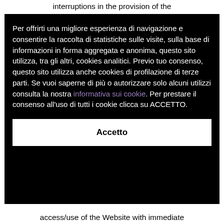interruptions in the provision of the
Per offrirti una migliore esperienza di navigazione e consentire la raccolta di statistiche sulle visite, sulla base di informazioni in forma aggregata e anonima, questo sito utilizza, tra gli altri, cookies analitici. Previo tuo consenso, questo sito utilizza anche cookies di profilazione di terze parti. Se vuoi saperne di più o autorizzare solo alcuni utilizzi consulta la nostra informativa sui cookie. Per prestare il consenso all'uso di tutti i cookie clicca su ACCETTO.
Accetto
access/use of the Website with immediate